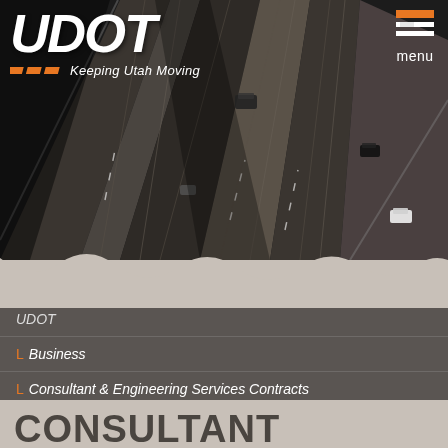[Figure (photo): Aerial view of multilane highway interchange with vehicles, dark tones, viewed from above at an angle showing crossing roadways]
UDOT — Keeping Utah Moving
UDOT
Business
Consultant & Engineering Services Contracts
Consultant Services Project Solicitations
CONSULTANT SERVICES